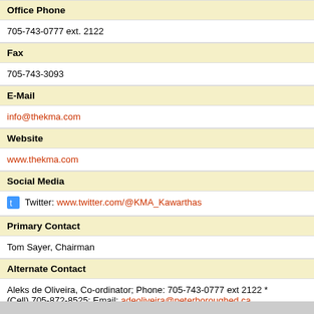Office Phone
705-743-0777 ext. 2122
Fax
705-743-3093
E-Mail
info@thekma.com
Website
www.thekma.com
Social Media
Twitter: www.twitter.com/@KMA_Kawarthas
Primary Contact
Tom Sayer, Chairman
Alternate Contact
Aleks de Oliveira, Co-ordinator; Phone: 705-743-0777 ext 2122 * (Cell) 705-872-8525; Email: adeoliveira@peterboroughed.ca